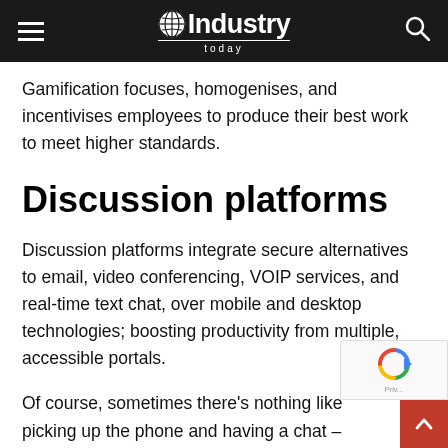Industry Today
Gamification focuses, homogenises, and incentivises employees to produce their best work to meet higher standards.
Discussion platforms
Discussion platforms integrate secure alternatives to email, video conferencing, VOIP services, and real-time text chat, over mobile and desktop technologies; boosting productivity from multiple, accessible portals.
Of course, sometimes there's nothing like picking up the phone and having a chat – but is that always the most productive way of communicating?